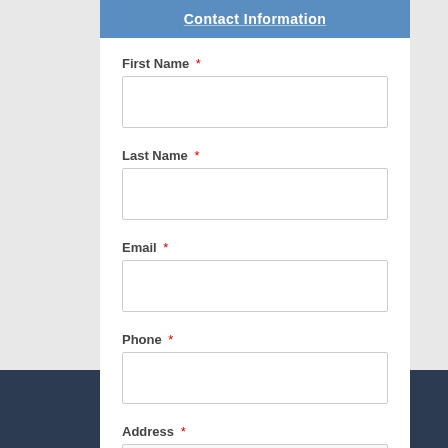Contact Information
First Name *
Last Name *
Email *
Phone *
Address *
Address Line 1